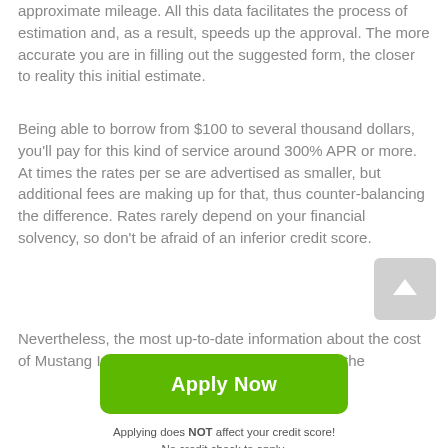approximate mileage. All this data facilitates the process of estimation and, as a result, speeds up the approval. The more accurate you are in filling out the suggested form, the closer to reality this initial estimate.
Being able to borrow from $100 to several thousand dollars, you'll pay for this kind of service around 300% APR or more. At times the rates per se are advertised as smaller, but additional fees are making up for that, thus counter-balancing the difference. Rates rarely depend on your financial solvency, so don't be afraid of an inferior credit score.
Nevertheless, the most up-to-date information about the cost of Mustang Installment loans is available only on the
[Figure (other): Scroll-to-top button: grey rounded square with white upward arrow]
[Figure (other): Green Apply Now button]
Applying does NOT affect your credit score!
No credit check to apply.